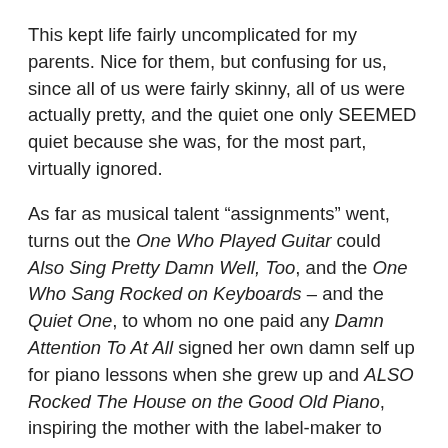This kept life fairly uncomplicated for my parents. Nice for them, but confusing for us, since all of us were fairly skinny, all of us were actually pretty, and the quiet one only SEEMED quiet because she was, for the most part, virtually ignored.
As far as musical talent “assignments” went, turns out the One Who Played Guitar could Also Sing Pretty Damn Well, Too, and the One Who Sang Rocked on Keyboards – and the Quiet One, to whom no one paid any Damn Attention To At All signed her own damn self up for piano lessons when she grew up and ALSO Rocked The House on the Good Old Piano, inspiring the mother with the label-maker to trade in said label maker for her OWN piano, with lessons to go with.
At the same time, as a result of this…